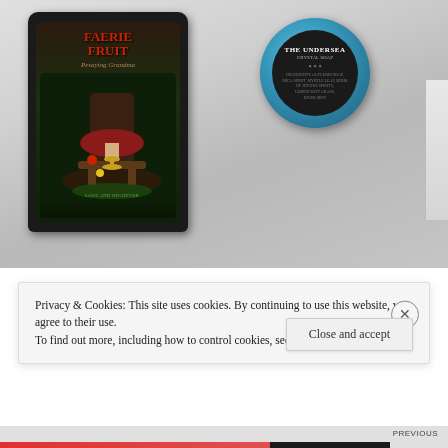[Figure (photo): Product photo showing a dark black pouch labeled 'FAERIE FRUIT Pesaying Grandma' with fantasy forest artwork, alongside a round blue crystal soap labeled 'THE UNDERSEA CRYSTAL SOAP' on a light grey/white surface. Pages of a book or papers visible at the right edge.]
Privacy & Cookies: This site uses cookies. By continuing to use this website, you agree to their use.
To find out more, including how to control cookies, see here: Cookie Policy
Close and accept